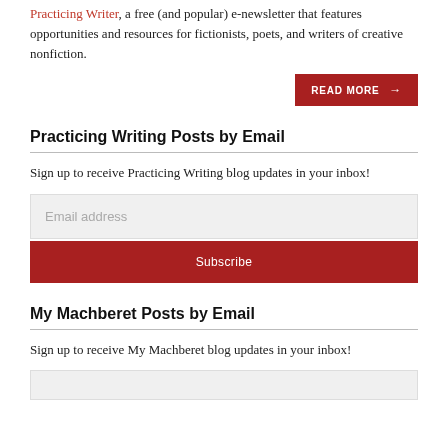Practicing Writer, a free (and popular) e-newsletter that features opportunities and resources for fictionists, poets, and writers of creative nonfiction.
[Figure (other): READ MORE button with arrow, dark red background, white uppercase text]
Practicing Writing Posts by Email
Sign up to receive Practicing Writing blog updates in your inbox!
[Figure (other): Email address input field with gray background placeholder text]
[Figure (other): Subscribe button, dark red background, white text]
My Machberet Posts by Email
Sign up to receive My Machberet blog updates in your inbox!
[Figure (other): Email address input field at bottom, partially visible]